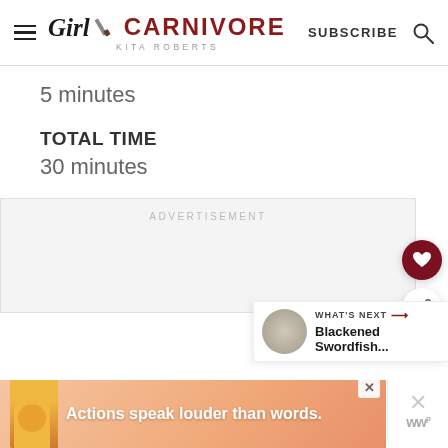GIRL CARNIVORE - KITA ROBERTS | SUBSCRIBE
5 minutes
TOTAL TIME
30 minutes
ADVERTISEMENT
WHAT'S NEXT → Blackened Swordfish...
Actions speak louder than words.